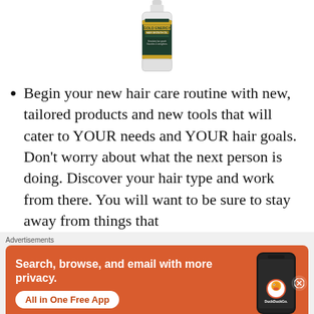[Figure (photo): A glass bottle of Gold Energy Hair Growth Oil product with a dark green and gold label]
Begin your new hair care routine with new, tailored products and new tools that will cater to YOUR needs and YOUR hair goals. Don't worry about what the next person is doing. Discover your hair type and work from there. You will want to be sure to stay away from things that
Advertisements
[Figure (screenshot): DuckDuckGo advertisement banner with orange background. Text reads: Search, browse, and email with more privacy. All in One Free App. Shows a phone with the DuckDuckGo logo.]